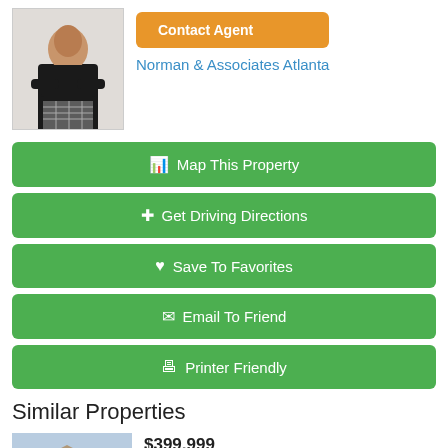[Figure (photo): Agent photo: woman in black jacket with arms crossed]
Contact Agent
Norman & Associates Atlanta
🗺 Map This Property
✛ Get Driving Directions
♥ Save To Favorites
✉ Email To Friend
🖶 Printer Friendly
Similar Properties
[Figure (photo): Thumbnail of property at 9874 Musket Ridge CIR]
$399,999
9874 Musket Ridge CIR
Jonesboro, GA 30238
[Figure (photo): Thumbnail of second similar property]
$399,990